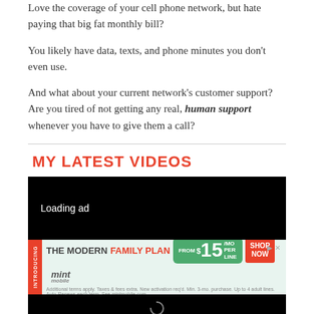Love the coverage of your cell phone network, but hate paying that big fat monthly bill?
You likely have data, texts, and phone minutes you don't even use.
And what about your current network's customer support? Are you tired of not getting any real, human support whenever you have to give them a call?
MY LATEST VIDEOS
[Figure (screenshot): Video player showing 'Loading ad' text on black background]
[Figure (infographic): Mint Mobile advertisement banner: INTRODUCING THE MODERN FAMILY PLAN from $15/MO PER LINE SHOP NOW mint mobile]
[Figure (screenshot): Bottom portion of video player, black background with loading spinner]